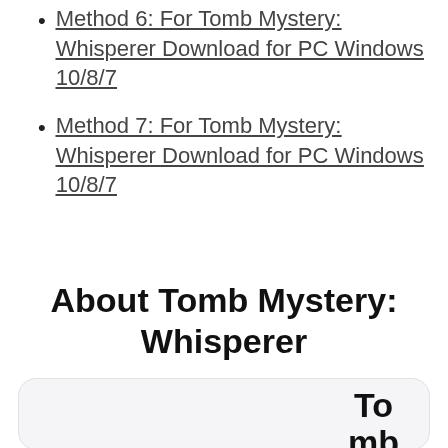Method 6: For Tomb Mystery: Whisperer Download for PC Windows 10/8/7
Method 7: For Tomb Mystery: Whisperer Download for PC Windows 10/8/7
About Tomb Mystery: Whisperer
[Figure (logo): Partial logo card showing text 'To mb My' in bold black, on a light grey rounded rectangle card]